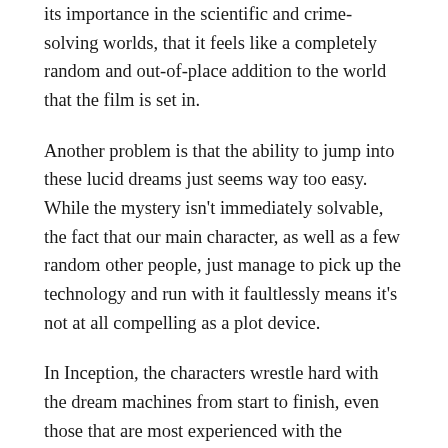its importance in the scientific and crime-solving worlds, that it feels like a completely random and out-of-place addition to the world that the film is set in.
Another problem is that the ability to jump into these lucid dreams just seems way too easy. While the mystery isn't immediately solvable, the fact that our main character, as well as a few random other people, just manage to pick up the technology and run with it faultlessly means it's not at all compelling as a plot device.
In Inception, the characters wrestle hard with the dream machines from start to finish, even those that are most experienced with the technology, and that makes for an emotionally riveting and very deep watch right up to the end, whereas in Lucid Dream, the seemingly incredible ability to return to past memories and find clues to solve a mystery is really glossed over, and it has absolutely no impact on the